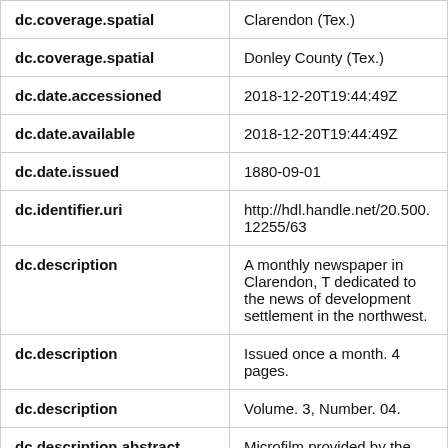| Field | Value |
| --- | --- |
| dc.coverage.spatial | Clarendon (Tex.) |
| dc.coverage.spatial | Donley County (Tex.) |
| dc.date.accessioned | 2018-12-20T19:44:49Z |
| dc.date.available | 2018-12-20T19:44:49Z |
| dc.date.issued | 1880-09-01 |
| dc.identifier.uri | http://hdl.handle.net/20.500.12255/63 |
| dc.description | A monthly newspaper in Clarendon, T dedicated to the news of development settlement in the northwest. |
| dc.description | Issued once a month. 4 pages. |
| dc.description | Volume. 3, Number. 04. |
| dc.description.abstract | Microfilm provided by the Panhandle-P Historical Museum and Clarendon ISD |
| dc.language.iso | eng |